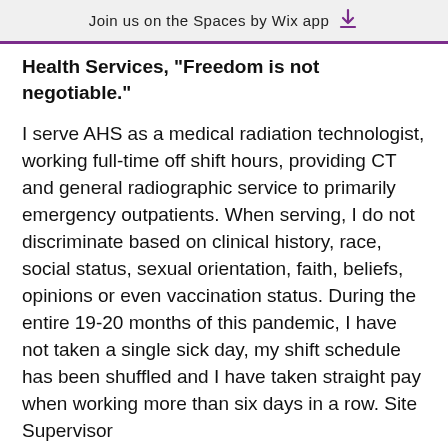Join us on the Spaces by Wix app
Health Services, 'Freedom is not negotiable."
I serve AHS as a medical radiation technologist, working full-time off shift hours, providing CT and general radiographic service to primarily emergency outpatients. When serving, I do not discriminate based on clinical history, race, social status, sexual orientation, faith, beliefs, opinions or even vaccination status. During the entire 19-20 months of this pandemic, I have not taken a single sick day, my shift schedule has been shuffled and I have taken straight pay when working more than six days in a row. Site Supervisor